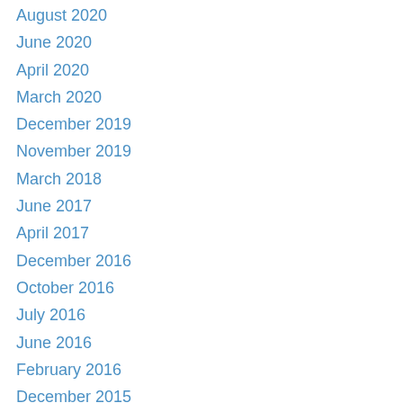August 2020
June 2020
April 2020
March 2020
December 2019
November 2019
March 2018
June 2017
April 2017
December 2016
October 2016
July 2016
June 2016
February 2016
December 2015
November 2015
October 2015
September 2015
August 2015
July 2015